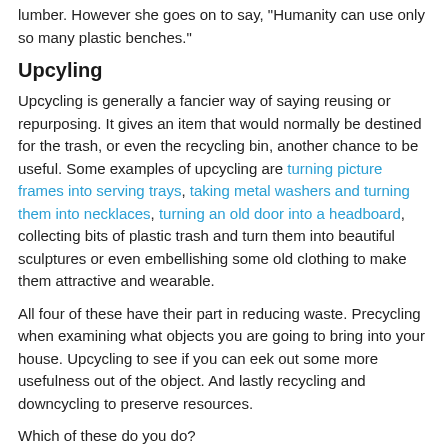lumber. However she goes on to say, "Humanity can use only so many plastic benches."
Upcyling
Upcycling is generally a fancier way of saying reusing or repurposing. It gives an item that would normally be destined for the trash, or even the recycling bin, another chance to be useful. Some examples of upcycling are turning picture frames into serving trays, taking metal washers and turning them into necklaces, turning an old door into a headboard, collecting bits of plastic trash and turn them into beautiful sculptures or even embellishing some old clothing to make them attractive and wearable.
All four of these have their part in reducing waste. Precycling when examining what objects you are going to bring into your house. Upcycling to see if you can eek out some more usefulness out of the object. And lastly recycling and downcycling to preserve resources.
Which of these do you do?